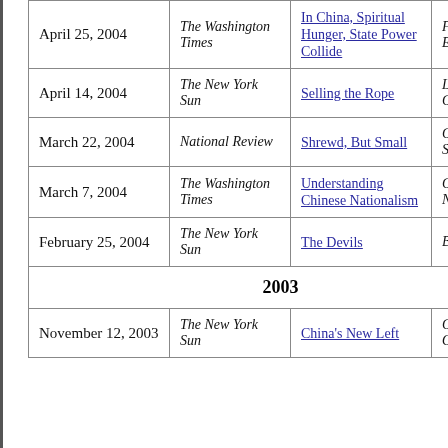| Date | Publication | Article Title | Review/Book |
| --- | --- | --- | --- |
| April 25, 2004 | The Washington Times | In China, Spiritual Hunger, State Power Collide | Falun ... The En... Days |
| April 14, 2004 | The New York Sun | Selling the Rope | Losing... New C... |
| March 22, 2004 | National Review | Shrewd, But Small | Chiang... Shek... |
| March 7, 2004 | The Washington Times | Understanding Chinese Nationalism | China's Natio... |
| February 25, 2004 | The New York Sun | The Devils | Before... |
| 2003 |  |  |  |
| November 12, 2003 | The New York Sun | China's New Left | China's Order... |